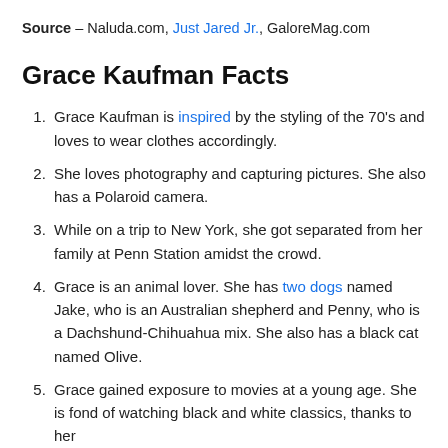Source – Naluda.com, Just Jared Jr., GaloreMag.com
Grace Kaufman Facts
Grace Kaufman is inspired by the styling of the 70's and loves to wear clothes accordingly.
She loves photography and capturing pictures. She also has a Polaroid camera.
While on a trip to New York, she got separated from her family at Penn Station amidst the crowd.
Grace is an animal lover. She has two dogs named Jake, who is an Australian shepherd and Penny, who is a Dachshund-Chihuahua mix. She also has a black cat named Olive.
Grace gained exposure to movies at a young age. She is fond of watching black and white classics, thanks to her